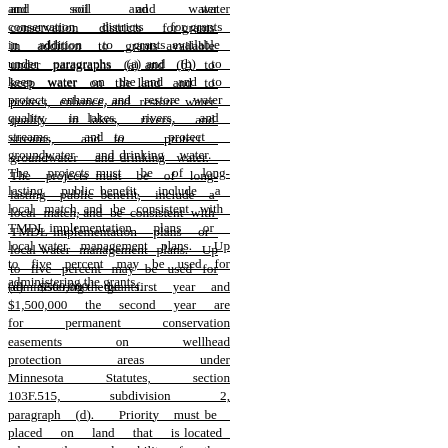and soil and water conservation districts for grants in addition to grants available under paragraphs (a) and (b) to keep water on the land and to protect, enhance, and restore water quality in lakes, rivers, and streams, and to protect groundwater and drinking water. The projects must be of long-lasting public benefit, include a local match, and be consistent with TMDL implementation plans or local water management plans. Up to five percent may be used for administering the grants.
(d) $500,000 the first year and $1,500,000 the second year are for permanent conservation easements on wellhead protection areas under Minnesota Statutes, section 103F.515, subdivision 2, paragraph (d). Priority must be placed on land that is located where the vulnerability of the drinking water supply management area, as defined under Minnesota Rules, part 4720.5100, subpart 13, is designated high or which...